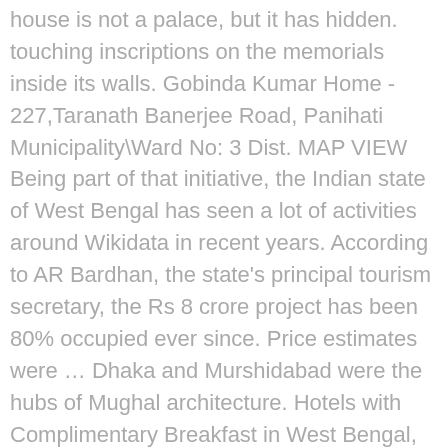house is not a palace, but it has hidden. touching inscriptions on the memorials inside its walls. Gobinda Kumar Home - 227,Taranath Banerjee Road, Panihati Municipality\Ward No: 3 Dist. MAP VIEW Being part of that initiative, the Indian state of West Bengal has seen a lot of activities around Wikidata in recent years. According to AR Bardhan, the state's principal tourism secretary, the Rs 8 crore project has been 80% occupied ever since. Price estimates were … Dhaka and Murshidabad were the hubs of Mughal architecture. Hotels with Complimentary Breakfast in West Bengal, Ramakrishna Mission Swami Vivekananda's Ancestral House and Cultural Centre. One of them is the house of Rakhaldas Bandopadhyay … The West Bengal Heritage Commission Act, 2001. one of the largest temples across the district of Murshidabad. Price estimates were calculated on 17 October 2020. Blessed with a rich heritage and mesmerizing beauty, West Bengal has secured itself a unique place in the history of India. The Buxa Fort depicts a strong history with regard to Indian